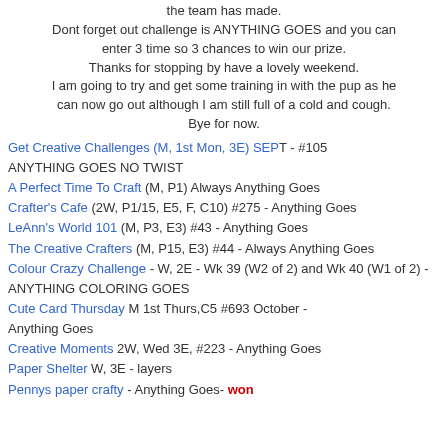the team has made. Dont forget out challenge is ANYTHING GOES and you can enter 3 time so 3 chances to win our prize. Thanks for stopping by have a lovely weekend. I am going to try and get some training in with the pup as he can now go out although I am still full of a cold and cough. Bye for now.
Get Creative Challenges (M, 1st Mon, 3E) SEPT - #105 ANYTHING GOES NO TWIST
A Perfect Time To Craft (M, P1) Always Anything Goes
Crafter's Cafe (2W, P1/15, E5, F, C10) #275 - Anything Goes
LeAnn's World 101 (M, P3, E3) #43 - Anything Goes
The Creative Crafters (M, P15, E3) #44 - Always Anything Goes
Colour Crazy Challenge - W, 2E - Wk 39 (W2 of 2) and Wk 40 (W1 of 2) - ANYTHING COLORING GOES
Cute Card Thursday M 1st Thurs,C5 #693 October - Anything Goes
Creative Moments 2W, Wed 3E, #223 - Anything Goes
Paper Shelter W, 3E - layers
Pennys paper crafty - Anything Goes- won